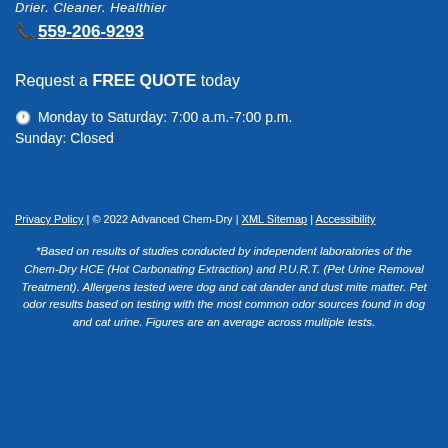Drier. Cleaner. Healthier
📞 559-206-9293
Request a FREE QUOTE today
🕐 Monday to Saturday: 7:00 a.m.-7:00 p.m.
Sunday: Closed
Privacy Policy | © 2022 Advanced Chem-Dry | XML Sitemap | Accessibility
*Based on results of studies conducted by independent laboratories of the Chem-Dry HCE (Hot Carbonating Extraction) and P.U.R.T. (Pet Urine Removal Treatment). Allergens tested were dog and cat dander and dust mite matter. Pet odor results based on testing with the most common odor sources found in dog and cat urine. Figures are an average across multiple tests.